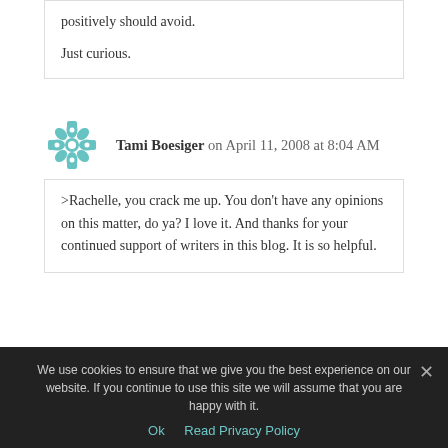positively should avoid.

Just curious.
Tami Boesiger on April 11, 2008 at 8:04 AM
>Rachelle, you crack me up. You don't have any opinions on this matter, do ya? I love it. And thanks for your continued support of writers in this blog. It is so helpful.
We use cookies to ensure that we give you the best experience on our website. If you continue to use this site we will assume that you are happy with it.
Ok   Read Privacy Policy